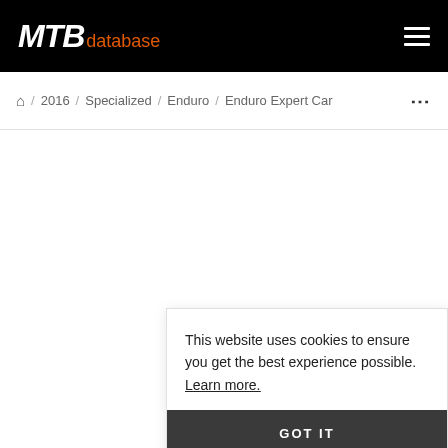MTB database
Home / 2016 / Specialized / Enduro / Enduro Expert Car ...
This website uses cookies to ensure you get the best experience possible. Learn more. GOT IT